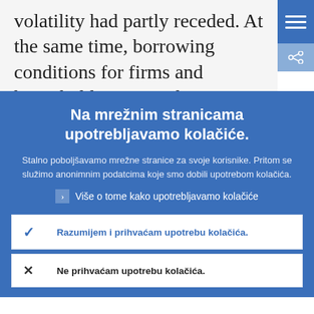volatility had partly receded. At the same time, borrowing conditions for firms and households remained very supportive.
Na mrežnim stranicama upotrebljavamo kolačiće.
Stalno poboljšavamo mrežne stranice za svoje korisnike. Pritom se služimo anonimnim podatcima koje smo dobili upotrebom kolačića.
Više o tome kako upotrebljavamo kolačiće
Razumijem i prihvaćam upotrebu kolačića.
Ne prihvaćam upotrebu kolačića.